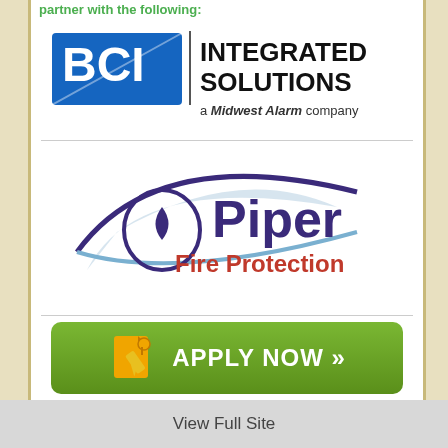partner with the following:
[Figure (logo): BCI Integrated Solutions - a Midwest Alarm company logo]
[Figure (logo): Piper Fire Protection logo with water drop and swoosh graphic]
[Figure (illustration): Green APPLY NOW button with yellow document/pen icon]
View Full Site